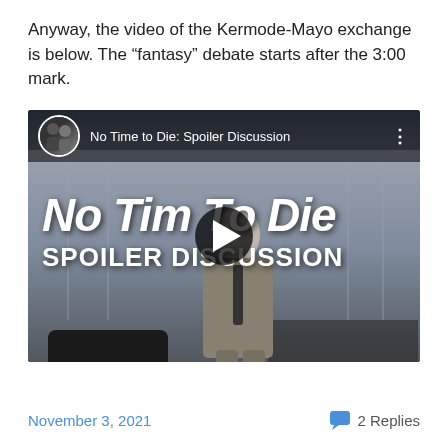Anyway, the video of the Kermode-Mayo exchange is below. The “fantasy” debate starts after the 3:00 mark.
[Figure (screenshot): YouTube video thumbnail for 'No Time to Die: Spoiler Discussion' showing a man in a grey suit with the text 'No Time To Die SPOILER DISCUSSION' overlaid on the image, with a circular avatar of two people in the top left corner and a play button in the center.]
November 3, 2021
2 Replies